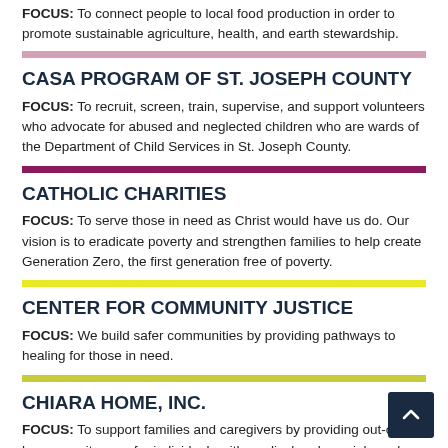FOCUS: To connect people to local food production in order to promote sustainable agriculture, health, and earth stewardship.
CASA PROGRAM OF ST. JOSEPH COUNTY
FOCUS: To recruit, screen, train, supervise, and support volunteers who advocate for abused and neglected children who are wards of the Department of Child Services in St. Joseph County.
CATHOLIC CHARITIES
FOCUS: To serve those in need as Christ would have us do. Our vision is to eradicate poverty and strengthen families to help create Generation Zero, the first generation free of poverty.
CENTER FOR COMMUNITY JUSTICE
FOCUS: We build safer communities by providing pathways to healing for those in need.
CHIARA HOME, INC.
FOCUS: To support families and caregivers by providing out-of-home respite care for individuals with medical and special needs.